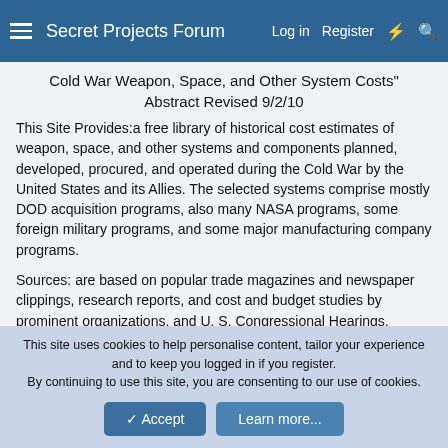Secret Projects Forum   Log in   Register
Cold War Weapon, Space, and Other System Costs"
Abstract Revised 9/2/10
This Site Provides:a free library of historical cost estimates of weapon, space, and other systems and components planned, developed, procured, and operated during the Cold War by the United States and its Allies. The selected systems comprise mostly DOD acquisition programs, also many NASA programs, some foreign military programs, and some major manufacturing company programs.
Sources: are based on popular trade magazines and newspaper clippings, research reports, and cost and budget studies by prominent organizations, and U. S. Congressional Hearings.
Based on most of the data here presented, information in the...
This site uses cookies to help personalise content, tailor your experience and to keep you logged in if you register.
By continuing to use this site, you are consenting to our use of cookies.
Accept   Learn more...